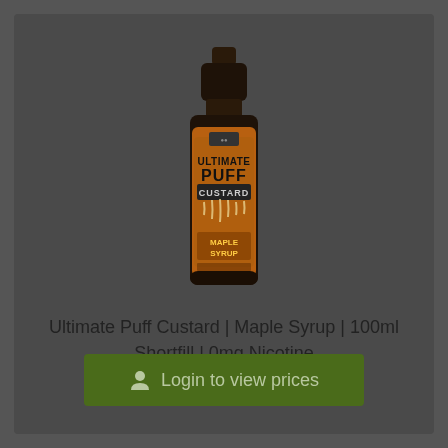[Figure (photo): A bottle of Ultimate Puff Custard Maple Syrup 100ml shortfill vape juice. The bottle is tall and cylindrical with a dark brown/black cap. The label is orange/amber with dark text reading ULTIMATE PUFF CUSTARD with dripping custard design and MAPLE SYRUP at the bottom.]
Ultimate Puff Custard | Maple Syrup | 100ml Shortfill | 0mg Nicotine
Login to view prices